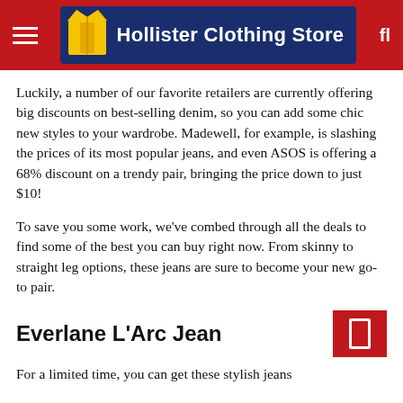Hollister Clothing Store
Luckily, a number of our favorite retailers are currently offering big discounts on best-selling denim, so you can add some chic new styles to your wardrobe. Madewell, for example, is slashing the prices of its most popular jeans, and even ASOS is offering a 68% discount on a trendy pair, bringing the price down to just $10!
To save you some work, we've combed through all the deals to find some of the best you can buy right now. From skinny to straight leg options, these jeans are sure to become your new go-to pair.
Everlane L'Arc Jean
For a limited time, you can get these stylish jeans